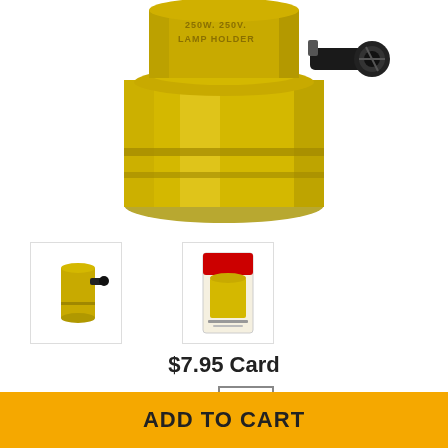[Figure (photo): Close-up photo of a brass lamp holder/socket with a side-mounted black knob switch, showing text '250W 250V LAMP HOLDER' embossed on top. Gold/brass colored metal cylindrical component.]
[Figure (photo): Small thumbnail image of the brass lamp holder with black switch knob, side view.]
[Figure (photo): Small thumbnail image showing the lamp holder in its retail card packaging with red header.]
$7.95 Card
Qty  1
ADD TO CART